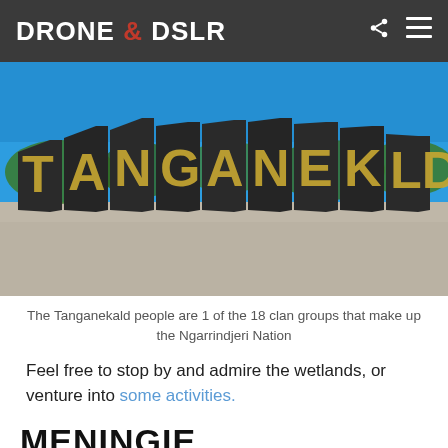DRONE & DSLR
[Figure (photo): Outdoor photo of large dark metal sign letters spelling TANGANEKALD against a clear blue sky, with scrubby trees in background and a gravel foreground]
The Tanganekald people are 1 of the 18 clan groups that make up the Ngarrindjeri Nation
Feel free to stop by and admire the wetlands, or venture into some activities.
MENINGIE